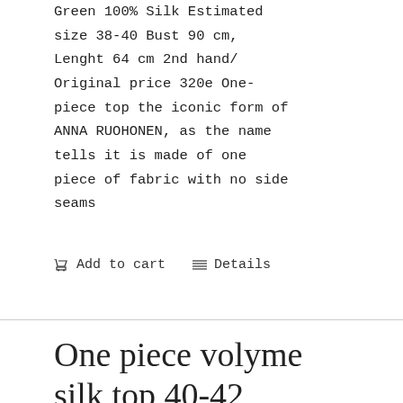Green 100% Silk Estimated size 38-40 Bust 90 cm, Lenght 64 cm 2nd hand/ Original price 320e One-piece top the iconic form of ANNA RUOHONEN, as the name tells it is made of one piece of fabric with no side seams
Add to cart   Details
One piece volyme silk top 40-42